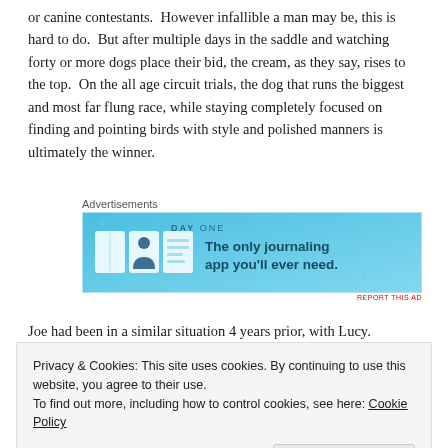or canine contestants.  However infallible a man may be, this is hard to do.  But after multiple days in the saddle and watching forty or more dogs place their bid, the cream, as they say, rises to the top.  On the all age circuit trials, the dog that runs the biggest and most far flung race, while staying completely focused on finding and pointing birds with style and polished manners is ultimately the winner.
[Figure (other): Advertisement banner for Day One journaling app with blue background, app icons, and text 'The only journaling app you'll ever need.']
Joe had been in a similar situation 4 years prior, with Lucy.
Privacy & Cookies: This site uses cookies. By continuing to use this website, you agree to their use.
To find out more, including how to control cookies, see here: Cookie Policy
disappointing fate.  Lucy had been drawn to run in the last